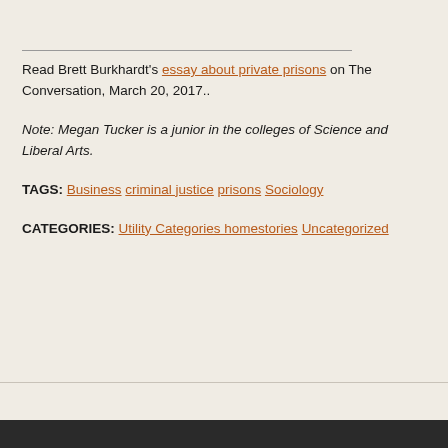Read Brett Burkhardt's essay about private prisons on The Conversation, March 20, 2017..
Note: Megan Tucker is a junior in the colleges of Science and Liberal Arts.
TAGS: Business criminal justice prisons Sociology
CATEGORIES: Utility Categories homestories Uncategorized